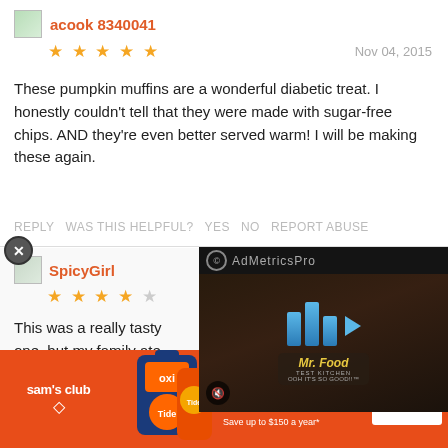acook 8340041
★★★★★  Nov 04, 2015
These pumpkin muffins are a wonderful diabetic treat. I honestly couldn't tell that they were made with sugar-free chips. AND they're even better served warm! I will be making these again.
REPLY  WAS THIS HELPFUL?  Yes  No  REPORT ABUSE
SpicyGirl
★★★★☆
This was a really tasty one, but my family ate wheat flour or sugar-fre
[Figure (screenshot): Video overlay with AdMetricsPro branding and Mr. Food Test Kitchen logo with play button]
FREE! The Best Free, Delicious Recipes in Your Email.
[Figure (advertisement): Sam's Club advertisement for Tide - Wash in cold. Save up to $150 a year*. IT'S OUR HOME. LET'S PROTECT IT TOGETHER. SHOP NOW]